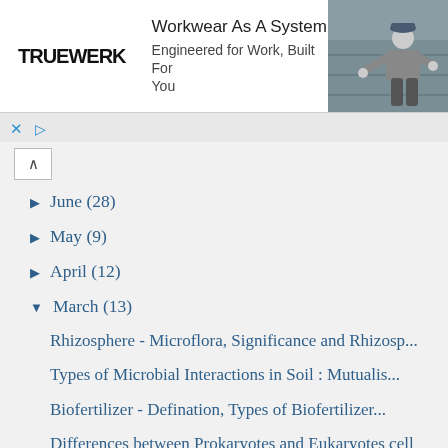[Figure (photo): Advertisement banner for TRUEWERK workwear showing logo, text 'Workkwear As A System / Engineered for Work, Built For You', and photo of a person working outdoors]
June (28)
May (9)
April (12)
March (13)
Rhizosphere - Microflora, Significance and Rhizosp...
Types of Microbial Interactions in Soil : Mutualis...
Biofertilizer - Defination, Types of Biofertilizer...
Differences between Prokaryotes and Eukaryotes cell
Physical methods of Microbial Growth Control
Principles of Control of Microorganisms & Terms as...
Rate of Death of Organisms & Factors Influencing it
Biological Oxygen Demand(BOD) : Principle, Protoco...